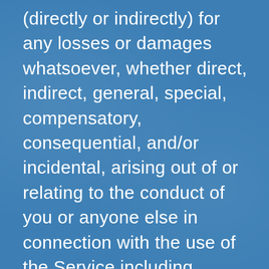(directly or indirectly) for any losses or damages whatsoever, whether direct, indirect, general, special, compensatory, consequential, and/or incidental, arising out of or relating to the conduct of you or anyone else in connection with the use of the Service including, without limitation, death, bodily injury, emotional distress, and/or any other damages resulting from communications or meetings with other users or persons you